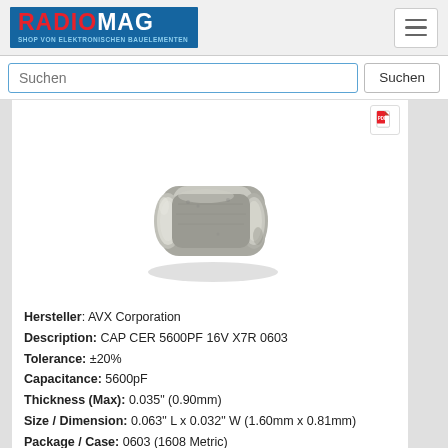[Figure (logo): RADIOMAG logo — red RADIO text, white MAG text on blue background, subtitle SHOP VON ELEKTRONISCHEN BAUELEMENTEN]
Suchen
[Figure (photo): Ceramic SMD capacitor (0603 package), rectangular with metallic silver end caps, silver-gray body, photographed at an angle on white background]
Hersteller: AVX Corporation
Description: CAP CER 5600PF 16V X7R 0603
Tolerance: ±20%
Capacitance: 5600pF
Thickness (Max): 0.035" (0.90mm)
Size / Dimension: 0.063" L x 0.032" W (1.60mm x 0.81mm)
Package / Case: 0603 (1608 Metric)
Applications: General Purpose
Operating Temperature: -55°C ... 125°C